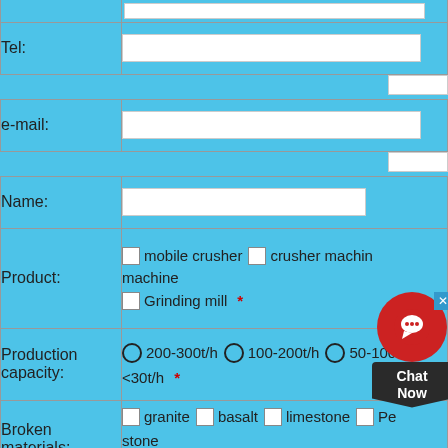| Tel: | [text input] |
| e-mail: | [text input] |
| Name: | [text input] |
| Product: | mobile crusher | crusher machine | machine | Grinding mill * |
| Production capacity: | 200-300t/h | 100-200t/h | 50-100t/h | <30t/h * |
| Broken materials: | granite | basalt | limestone | Pe...stone | marble | concrete | Construction wa... |